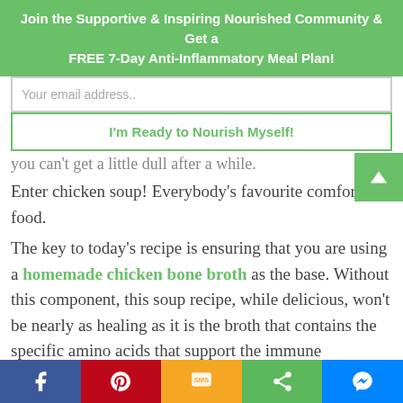Join the Supportive & Inspiring Nourished Community & Get a FREE 7-Day Anti-Inflammatory Meal Plan!
Your email address..
I'm Ready to Nourish Myself!
you can't get a little dull after a while.
Enter chicken soup! Everybody's favourite comfort food.
The key to today's recipe is ensuring that you are using a homemade chicken bone broth as the base. Without this component, this soup recipe, while delicious, won't be nearly as healing as it is the broth that contains the specific amino acids that support the immune